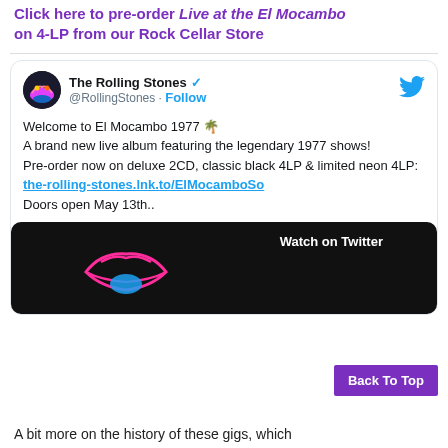Click here to pre-order Live at the El Mocambo on 4-LP from our Rock Cellar Store
[Figure (screenshot): Embedded tweet from The Rolling Stones (@RollingStones) with verified badge, Follow button, tweet text about El Mocambo 1977 live album pre-order, link the-rolling-stones.lnk.to/ElMocamboSo, Doors open May 13th.., and a Twitter video embed showing neon Rolling Stones lips logo with Watch on Twitter label.]
Back To Top
A bit more on the history of these gigs, which